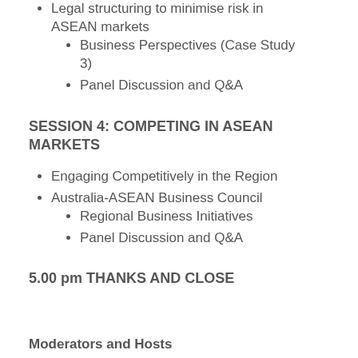Legal structuring to minimise risk in ASEAN markets
Business Perspectives (Case Study 3)
Panel Discussion and Q&A
SESSION 4:  COMPETING IN ASEAN MARKETS
Engaging Competitively in the Region
Australia-ASEAN Business Council
Regional Business Initiatives
Panel Discussion and Q&A
5.00 pm  THANKS AND CLOSE
Moderators and Hosts
Eleanor Mak, Managing Director Venturenauts; President Australia-ASEAN Business Council Inc